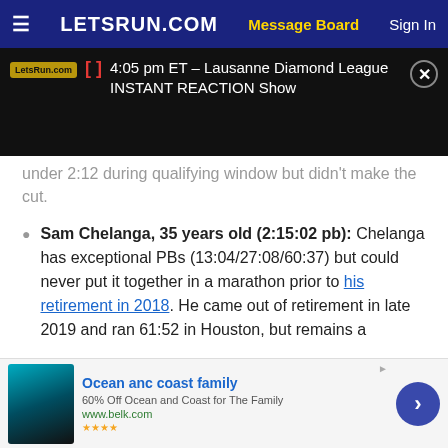≡  LETSRUN.COM    Message Board    Sign In
4:05 pm ET – Lausanne Diamond League INSTANT REACTION Show
under 2:12 during qualifying window but didn't make the cut.
Sam Chelanga, 35 years old (2:15:02 pb): Chelanga has exceptional PBs (13:04/27:08/60:37) but could never put it together in a marathon prior to his retirement in 2018. He came out of retirement in late 2019 and ran 61:52 in Houston, but remains a
Ocean anc coast family
60% Off Ocean and Coast for The Family
www.belk.com